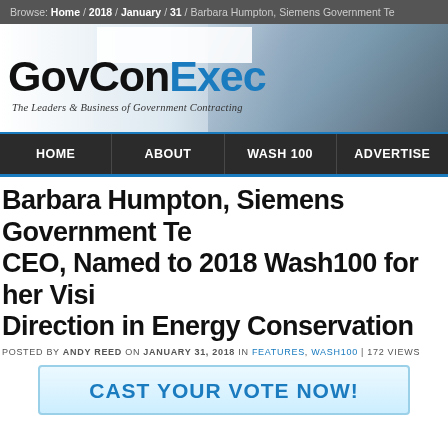Browse: Home / 2018 / January / 31 / Barbara Humpton, Siemens Government Te
[Figure (logo): GovConExec logo with tagline 'The Leaders & Business of Government Contracting' on a city skyline background]
HOME | ABOUT | WASH 100 | ADVERTISE
Barbara Humpton, Siemens Government Te CEO, Named to 2018 Wash100 for her Visi Direction in Energy Conservation
POSTED BY ANDY REED ON JANUARY 31, 2018 IN FEATURES, WASH100 | 172 VIEWS
CAST YOUR VOTE NOW!